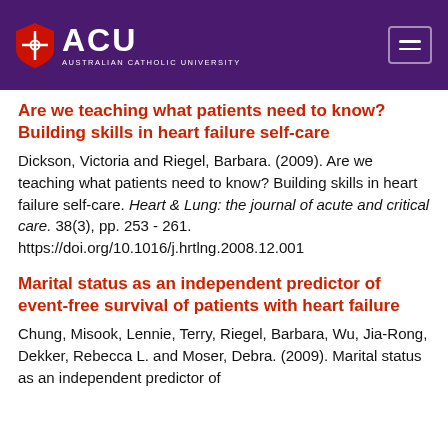[Figure (logo): ACU Australian Catholic University logo with shield on purple header background]
Are we teaching what patients need to know? Building skills in heart failure self-care
Dickson, Victoria and Riegel, Barbara. (2009). Are we teaching what patients need to know? Building skills in heart failure self-care. Heart & Lung: the journal of acute and critical care. 38(3), pp. 253 - 261. https://doi.org/10.1016/j.hrtlng.2008.12.001
Marital status as an independent predictor of event-free survival of patients with heart failure
Chung, Misook, Lennie, Terry, Riegel, Barbara, Wu, Jia-Rong, Dekker, Rebecca L. and Moser, Debra. (2009). Marital status as an independent predictor of